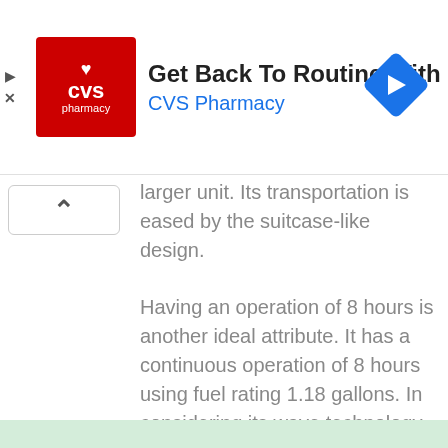[Figure (other): CVS Pharmacy advertisement banner with red logo, headline 'Get Back To Routine With CVS®', subheading 'CVS Pharmacy', and blue diamond arrow icon on the right. Includes play and close icons on the left edge.]
larger unit. Its transportation is eased by the suitcase-like design.
Having an operation of 8 hours is another ideal attribute. It has a continuous operation of 8 hours using fuel rating 1.18 gallons. In considering its wave technology, there's the provision of a stable and a pure power supply to your gadgets as well as sensitive electronics.